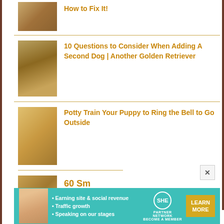[Figure (photo): Golden retriever dog photo - partial top crop]
How to Fix It!
[Figure (photo): Two golden retrievers with bandanas]
10 Questions to Consider When Adding A Second Dog | Another Golden Retriever
[Figure (photo): Golden retriever puppy in crate with bell]
Potty Train Your Puppy to Ring the Bell to Go Outside
[Figure (photo): Happy golden retriever with red bandana]
60 Sm
[Figure (photo): Golden retriever on leash with person]
Are Golden Retrievers Easy To Train?
[Figure (infographic): SHE Partner Network advertisement banner - Earning site & social revenue, Traffic growth, Speaking on our stages, LEARN MORE button]